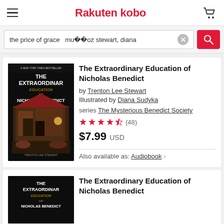Rakuten kobo
the price of grace  mu��oz stewart, diana
The Extraordinary Education of Nicholas Benedict
by Trenton Lee Stewart
Illustrated by Diana Sudyka
series The Mysterious Benedict Society
4.5 stars (48)
$7.99 USD
Also available as: Audiobook
The Extraordinary Education of Nicholas Benedict